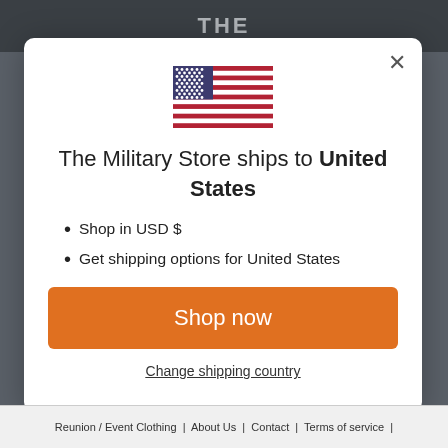THE
[Figure (illustration): US flag SVG illustration]
The Military Store ships to United States
Shop in USD $
Get shipping options for United States
Shop now
Change shipping country
Reunion / Event Clothing | About Us | Contact | Terms of service | Refund policy